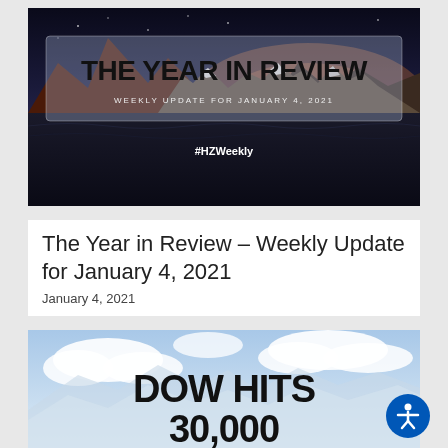[Figure (photo): The Year in Review banner with mountain lake landscape, dark sky background, bold white text 'THE YEAR IN REVIEW', subtitle 'WEEKLY UPDATE FOR JANUARY 4, 2021', and hashtag '#HZWeekly']
The Year in Review – Weekly Update for January 4, 2021
January 4, 2021
[Figure (photo): DOW HITS 30,000 banner with mountain and sky background, large bold black text]